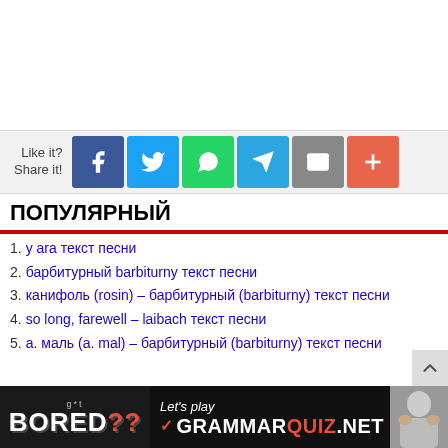[Figure (infographic): Social share bar with Like it? Share it! text and icons for Facebook, Twitter, WhatsApp, Telegram, Email, and a plus button]
ПОПУЛЯРНЫЙ
1. у ara текст песни
2. барбитурный barbiturny текст песни
3. канифоль (rosin) – барбитурный (barbiturny) текст песни
4. so long, farewell – laibach текст песни
5. а. маль (a. mal) – барбитурный (barbiturny) текст песни
[Figure (infographic): Bottom banner advertisement: g*t BORED?? Let's play GRAMMARQUIZ.NET with a photo of a person]